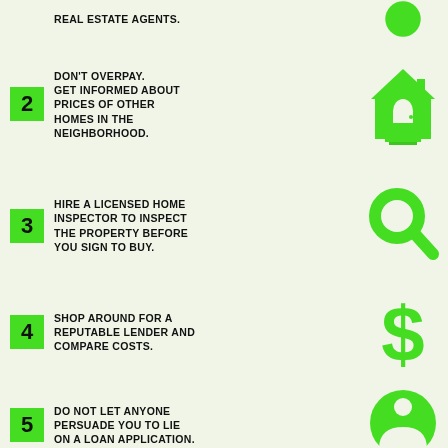REAL ESTATE AGENTS.
2 DON'T OVERPAY. GET INFORMED ABOUT PRICES OF OTHER HOMES IN THE NEIGHBORHOOD.
3 HIRE A LICENSED HOME INSPECTOR TO INSPECT THE PROPERTY BEFORE YOU SIGN TO BUY.
4 SHOP AROUND FOR A REPUTABLE LENDER AND COMPARE COSTS.
5 DO NOT LET ANYONE PERSUADE YOU TO LIE ON A LOAN APPLICATION.